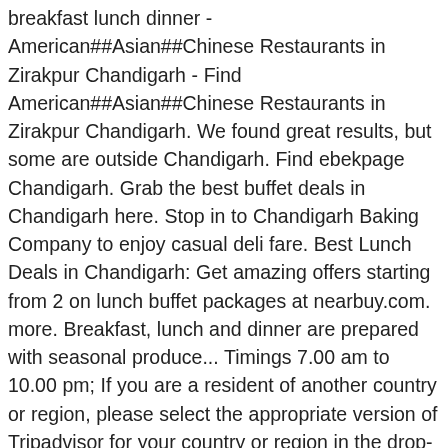breakfast lunch dinner - American##Asian##Chinese Restaurants in Zirakpur Chandigarh - Find American##Asian##Chinese Restaurants in Zirakpur Chandigarh. We found great results, but some are outside Chandigarh. Find ebekpage Chandigarh. Grab the best buffet deals in Chandigarh here. Stop in to Chandigarh Baking Company to enjoy casual deli fare. Best Lunch Deals in Chandigarh: Get amazing offers starting from 2 on lunch buffet packages at nearbuy.com. more. Breakfast, lunch and dinner are prepared with seasonal produce... Timings 7.00 am to 10.00 pm; If you are a resident of another country or region, please select the appropriate version of Tripadvisor for your country or region in the drop-down menu. The restaurant is at Sector 44 D, Chandigarh. Menus, Photos, Ratings and Reviews for Best Lunch in Chandigarh Zomato is the best way to discover great places to eat in your city. 10Deals offers a variety of famous restaurants & bars, cafe offers, Deals, discount coupons & much more. It is the most favorite gateway